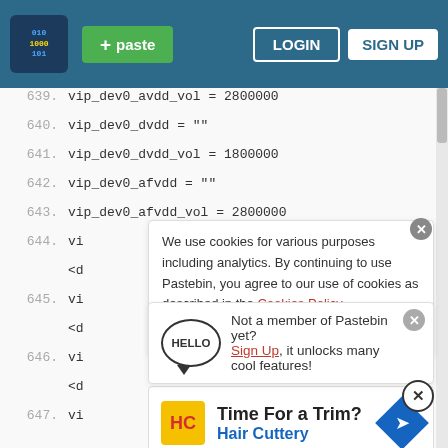+ paste  LOGIN  SIGN UP
639.  vip_dev0_avdd_vol         = 2800000
640.  vip_dev0_dvdd            = ""
641.  vip_dev0_dvdd_vol         = 1800000
642.  vip_dev0_afvdd           = ""
643.  vip_dev0_afvdd_vol        = 2800000
644.  vi
      <d
645.  vi
      <d
646.  vi
      <d
647.  vi
We use cookies for various purposes including analytics. By continuing to use Pastebin, you agree to our use of cookies as described in the Cookies Policy. OK, I Understand
Not a member of Pastebin yet? Sign Up, it unlocks many cool features!
648.
649.
650.
651.
[Figure (screenshot): Advertisement: Time For a Trim? Hair Cuttery]